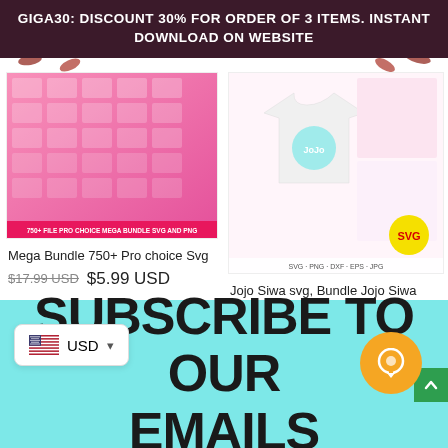GIGA30: DISCOUNT 30% FOR ORDER OF 3 ITEMS. INSTANT DOWNLOAD ON WEBSITE
[Figure (photo): Product image for Mega Bundle 750+ Pro choice SVG and PNG - collage of feminist/pro-choice designs on pink background with label at bottom]
Mega Bundle 750+ Pro choice Svg
$17.99 USD  $5.99 USD
[Figure (photo): Product image for Jojo Siwa SVG bundle - white t-shirt mockup with Jojo Siwa characters, bows, and stickers collage]
Jojo Siwa svg, Bundle Jojo Siwa bundle svg, png, dxf, eps
$11.99 USD  $5.99 USD
SUBSCRIBE TO OUR EMAILS
USD
[Figure (illustration): US flag icon in currency selector widget]
[Figure (illustration): Orange circular chat button and green arrow-up button]